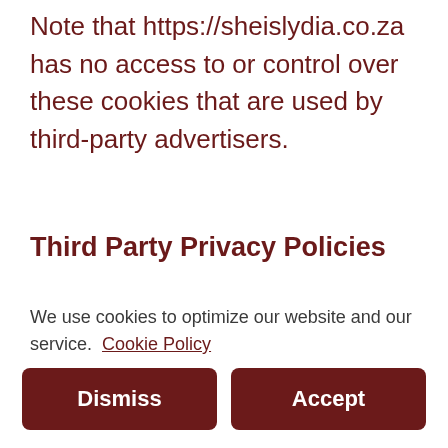Note that https://sheislydia.co.za has no access to or control over these cookies that are used by third-party advertisers.
Third Party Privacy Policies
https://sheislydia.co.za's Privacy Policy does not apply to other advertisers or websites
We use cookies to optimize our website and our service.  Cookie Policy
Dismiss
Accept